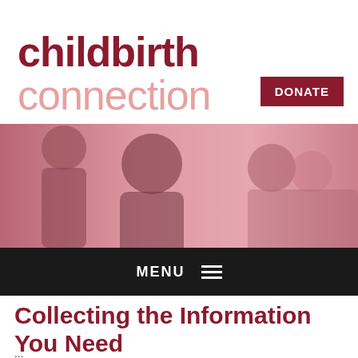childbirth connection DONATE
[Figure (photo): Banner photo showing a smiling Black woman with a man and an Asian woman, tinted in rose/pink tones, suggesting a pregnancy or childbirth context.]
MENU
Collecting the Information You Need
...